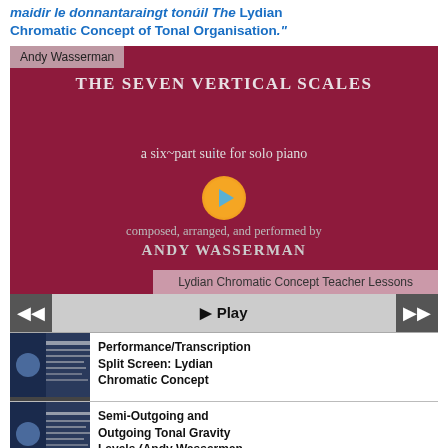maidir le donnantaraingt tonúil The Lydian Chromatic Concept of Tonal Organisation."
[Figure (screenshot): Video thumbnail for 'The Seven Vertical Scales – a six-part suite for solo piano' composed, arranged, and performed by Andy Wasserman. Dark red/crimson background with text overlay. Shows author name 'Andy Wasserman' in top-left box, title centered, play button in middle, and 'Lydian Chromatic Concept Teacher Lessons' label at bottom right.]
▶ Play
Performance/Transcription Split Screen: Lydian Chromatic Concept...
Semi-Outgoing and Outgoing Tonal Gravity Levels (Andy Wasserman...
The Lydian Scale (Andy Wasserman transcription) "The Lydian Scale" composed and...
The Lydian Augmented Scale...